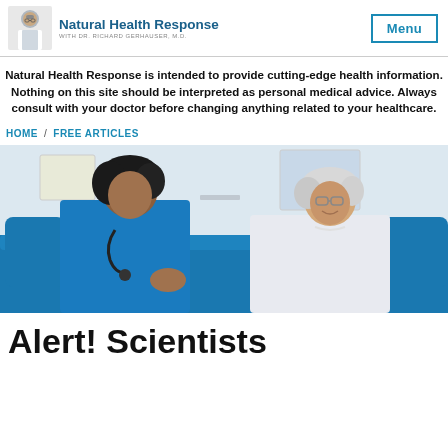Natural Health Response / Menu
Natural Health Response is intended to provide cutting-edge health information. Nothing on this site should be interpreted as personal medical advice. Always consult with your doctor before changing anything related to your healthcare.
HOME / FREE ARTICLES
[Figure (photo): A nurse in blue scrubs with a stethoscope consulting with an elderly woman with white hair on a blue couch.]
Alert! Scientists